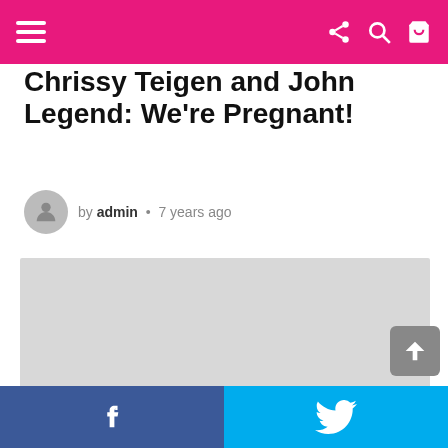navigation bar with hamburger menu, share icon, search icon, cart icon
Chrissy Teigen and John Legend: We're Pregnant!
by admin • 7 years ago
[Figure (photo): Large image placeholder (gray rectangle) for article photo]
Facebook and Twitter share buttons